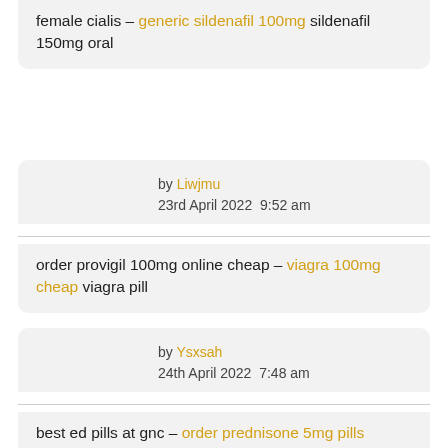female cialis – generic sildenafil 100mg sildenafil 150mg oral
by Liwjmu
23rd April 2022  9:52 am
order provigil 100mg online cheap – viagra 100mg cheap viagra pill
by Ysxsah
24th April 2022  7:48 am
best ed pills at gnc – order prednisone 5mg pills prednisone 5mg price